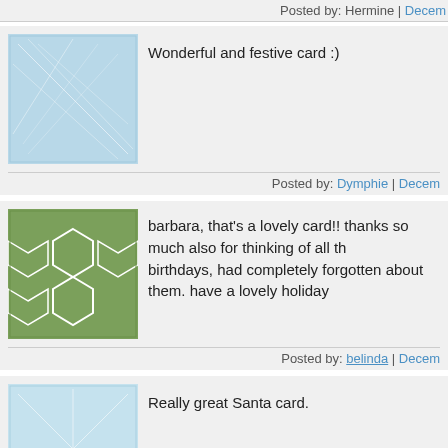Posted by: Hermine | Decem
[Figure (illustration): Blue geometric lines pattern avatar thumbnail]
Wonderful and festive card :)
Posted by: Dymphie | Decem
[Figure (illustration): Green hexagonal pattern avatar thumbnail]
barbara, that's a lovely card!! thanks so much also for thinking of all th birthdays, had completely forgotten about them. have a lovely holiday
Posted by: belinda | Decem
[Figure (illustration): Light blue lines pattern avatar thumbnail]
Really great Santa card.
Posted by: Barbara | Decem
[Figure (illustration): Teal burst/flower pattern avatar thumbnail]
your Santa Claus is lovely
have a Good day!
lovely music!